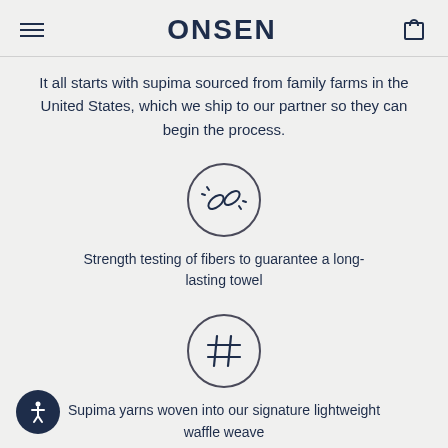ONSEN
It all starts with supima sourced from family farms in the United States, which we ship to our partner so they can begin the process.
[Figure (illustration): Circle icon with a chain link / fiber testing symbol inside]
Strength testing of fibers to guarantee a long-lasting towel
[Figure (illustration): Circle icon with a hashtag / waffle weave grid symbol inside]
Supima yarns woven into our signature lightweight waffle weave